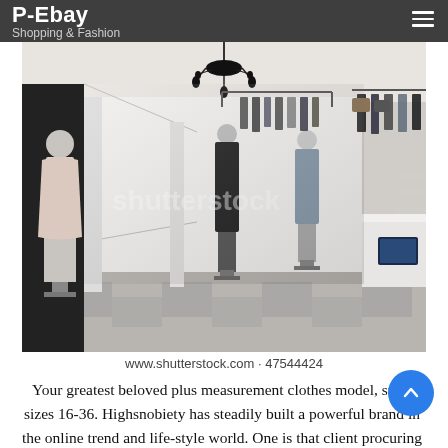P-Ebay · Shopping & Fashion
[Figure (photo): Interior of a modern fashion retail store with mannequins displaying clothing, racks of dark garments, a chandelier, checkered floor tiles, and a white service counter on the right. Shutterstock watermark visible.]
www.shutterstock.com · 47544424
Your greatest beloved plus measurement clothes model, store sizes 16-36. Highsnobiety has steadily built a powerful brand in the online trend and life-style world. One is that client procuring behaviors are changing, and